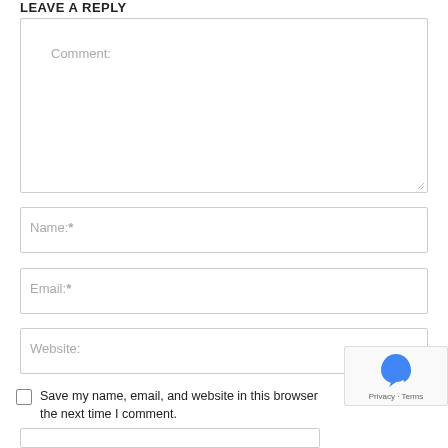LEAVE A REPLY
[Figure (screenshot): Comment text area input box with placeholder text 'Comment:']
[Figure (screenshot): Name input field with placeholder text 'Name:*']
[Figure (screenshot): Email input field with placeholder text 'Email:*']
[Figure (screenshot): Website input field with placeholder text 'Website:']
Save my name, email, and website in this browser the next time I comment.
[Figure (logo): reCAPTCHA badge with logo and 'Privacy - Terms' text]